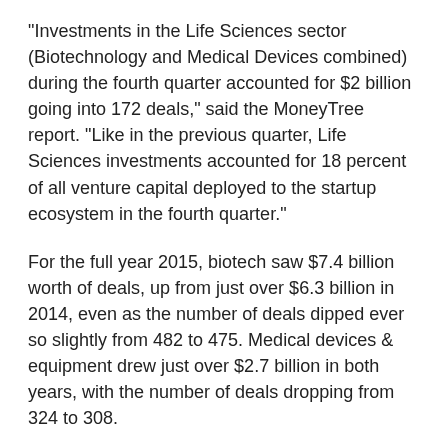"Investments in the Life Sciences sector (Biotechnology and Medical Devices combined) during the fourth quarter accounted for $2 billion going into 172 deals," said the MoneyTree report. "Like in the previous quarter, Life Sciences investments accounted for 18 percent of all venture capital deployed to the startup ecosystem in the fourth quarter."
For the full year 2015, biotech saw $7.4 billion worth of deals, up from just over $6.3 billion in 2014, even as the number of deals dipped ever so slightly from 482 to 475. Medical devices & equipment drew just over $2.7 billion in both years, with the number of deals dropping from 324 to 308.
Notably, MoneyTree chooses not to track healthcare services as part of life sciences, but as a separate sector. However, it's one worth watching — especially as campuses and areas devoted to healthcare begin to feature workspace assets dedicated to life sciences firms such as CROs, biotech and bioinformatics. The MoneyTree report shows that healthcare